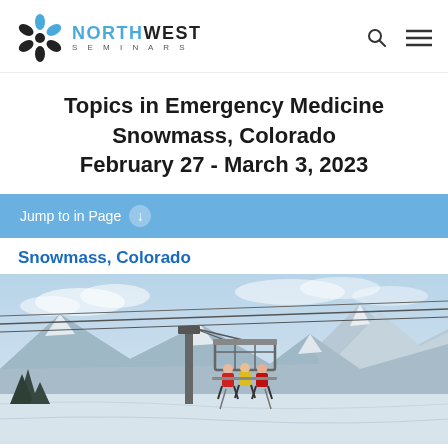Northwest Seminars
Topics in Emergency Medicine
Snowmass, Colorado
February 27 - March 3, 2023
Jump to in Page
Snowmass, Colorado
[Figure (photo): People riding a ski lift chair at Snowmass, Colorado with snow-covered mountain landscape in the background under a partly cloudy sky.]